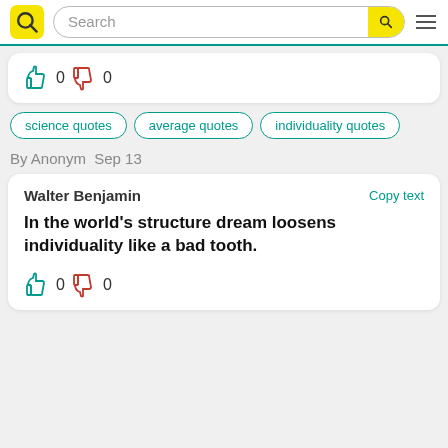Search
[Figure (screenshot): Thumbs up (0) and thumbs down (0) vote buttons from a partial card]
science quotes
average quotes
individuality quotes
By Anonym  Sep 13
Walter Benjamin
Copy text
In the world's structure dream loosens individuality like a bad tooth.
[Figure (screenshot): Thumbs up (0) and thumbs down (0) vote buttons at bottom of quote card]